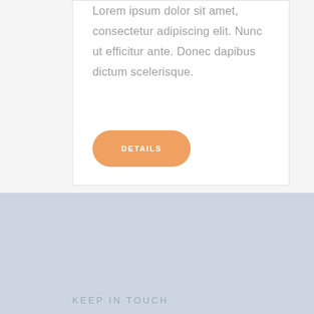Lorem ipsum dolor sit amet, consectetur adipiscing elit. Nunc ut efficitur ante. Donec dapibus dictum scelerisque.
[Figure (other): Orange rounded rectangle button labeled DETAILS]
KEEP IN TOUCH